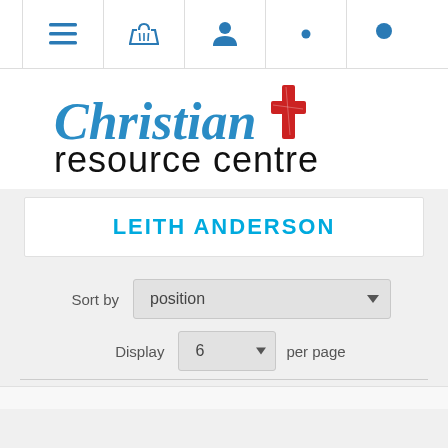Navigation bar with menu, basket, account, settings, and search icons
[Figure (logo): Christian Resource Centre logo with blue cursive 'Christian' text, red hand-drawn cross, and black 'resource centre' text]
LEITH ANDERSON
Sort by  position
Display  6  per page